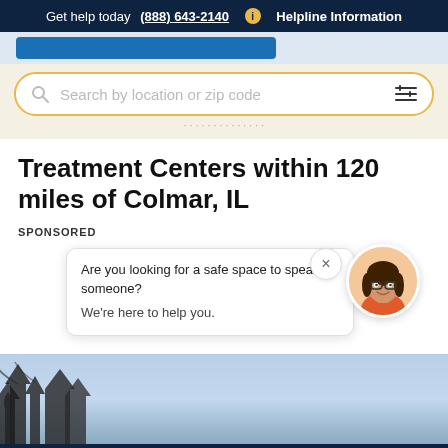Get help today (888) 643-2140  Helpline Information
Search by location or zip code
Treatment Centers within 120 miles of Colmar, IL
SPONSORED
Are you looking for a safe space to speak to someone? We're here to help you.
Your Next Steps